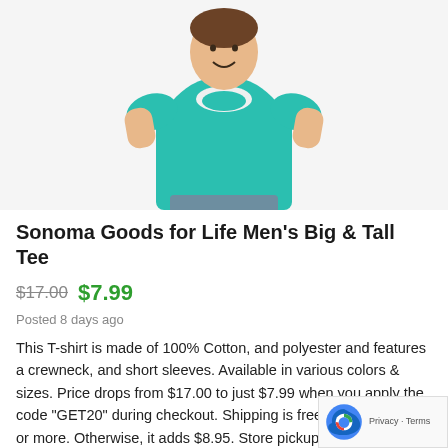[Figure (photo): Man wearing a teal/turquoise crew-neck t-shirt, smiling, standing against a white/light grey background. The shirt is a Big & Tall style tee.]
Sonoma Goods for Life Men's Big & Tall Tee
$17.00  $7.99
Posted 8 days ago
This T-shirt is made of 100% Cotton, and polyester and features a crewneck, and short sleeves. Available in various colors & sizes. Price drops from $17.00 to just $7.99 when you apply the code "GET20" during checkout. Shipping is free on orders of $49 or more. Otherwise, it adds $8.95. Store pickup is free. Sales tax is charged in most states.